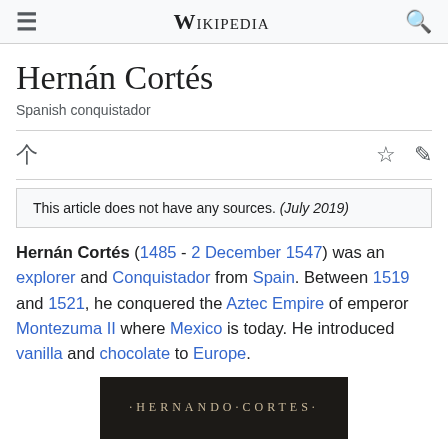Wikipedia
Hernán Cortés
Spanish conquistador
This article does not have any sources. (July 2019)
Hernán Cortés (1485 - 2 December 1547) was an explorer and Conquistador from Spain. Between 1519 and 1521, he conquered the Aztec Empire of emperor Montezuma II where Mexico is today. He introduced vanilla and chocolate to Europe.
[Figure (photo): Historical portrait image with text '·HERNANDO·CORTES·' at the top]